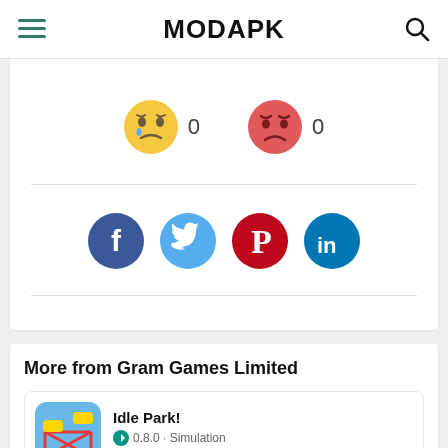MODAPK
[Figure (infographic): Sad emoji with count 0 and angry emoji with count 0 (reaction buttons)]
[Figure (infographic): Social share icons: Facebook, Twitter, Pinterest, LinkedIn]
More from Gram Games Limited
Idle Park! · 0.8.0 · Simulation · 4.1 · MOD Unlimited Money
Merge Dragons! · 8.5.0 · Puzzle